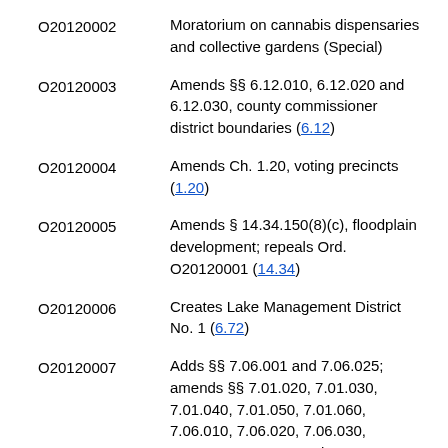O20120002 — Moratorium on cannabis dispensaries and collective gardens (Special)
O20120003 — Amends §§ 6.12.010, 6.12.020 and 6.12.030, county commissioner district boundaries (6.12)
O20120004 — Amends Ch. 1.20, voting precincts (1.20)
O20120005 — Amends § 14.34.150(8)(c), floodplain development; repeals Ord. O20120001 (14.34)
O20120006 — Creates Lake Management District No. 1 (6.72)
O20120007 — Adds §§ 7.06.001 and 7.06.025; amends §§ 7.01.020, 7.01.030, 7.01.040, 7.01.050, 7.01.060, 7.06.010, 7.06.020, 7.06.030, 7.06.040, 7.06.070 and 7.06.080; repeals §§ 7.06.050 and 7.06.060, animals (7.01, 7.06)